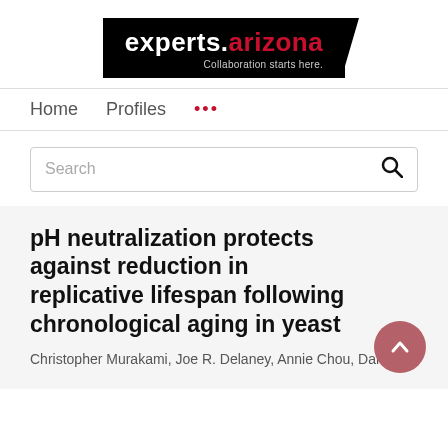[Figure (logo): experts.arizona logo — white text on black background with tagline 'Collaboration starts here.']
Home   Profiles   ...
Search
pH neutralization protects against reduction in replicative lifespan following chronological aging in yeast
Christopher Murakami, Joe R. Delaney, Annie Chou, Daniel